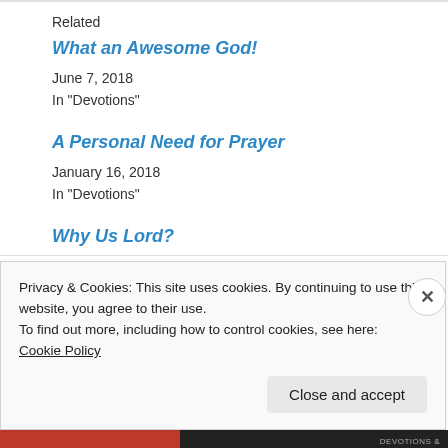Related
What an Awesome God!
June 7, 2018
In "Devotions"
A Personal Need for Prayer
January 16, 2018
In "Devotions"
Why Us Lord?
February 13, 2018
Privacy & Cookies: This site uses cookies. By continuing to use this website, you agree to their use.
To find out more, including how to control cookies, see here:
Cookie Policy
Close and accept
DEVOTIONS